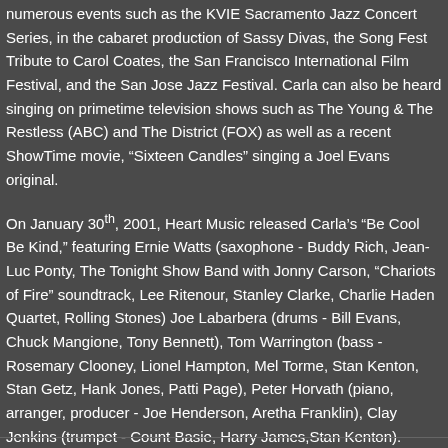numerous events such as the KVIE Sacramento Jazz Concert Series, in the cabaret production of Sassy Divas, the Song Fest Tribute to Carol Coates, the San Francisco International Film Festival, and the San Jose Jazz Festival. Carla can also be heard singing on primetime television shows such as The Young & The Restless (ABC) and The District (FOX) as well as a recent ShowTime movie, “Sixteen Candles” singing a Joel Evans original.
On January 30th, 2001, Heart Music released Carla’s “Be Cool Be Kind,” featuring Ernie Watts (saxophone - Buddy Rich, Jean-Luc Ponty, The Tonight Show Band with Jonny Carson, “Chariots of Fire” soundtrack, Lee Ritenour, Stanley Clarke, Charlie Haden Quartet, Rolling Stones) Joe Labarbera (drums - Bill Evans, Chuck Mangione, Tony Bennett), Tom Warrington (bass - Rosemary Clooney, Lionel Hampton, Mel Torme, Stan Kenton, Stan Getz, Hank Jones, Patti Page), Peter Horvath (piano, arranger, producer - Joe Henderson, Aretha Franklin), Clay Jenkins (trumpet - Count Basie, Harry James,Stan Kenton).